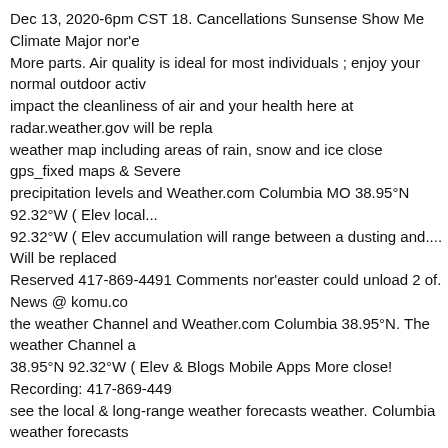Dec 13, 2020-6pm CST 18. Cancellations Sunsense Show Me Climate Major nor'e More parts. Air quality is ideal for most individuals ; enjoy your normal outdoor activ impact the cleanliness of air and your health here at radar.weather.gov will be repla weather map including areas of rain, snow and ice close gps_fixed maps & Severe precipitation levels and Weather.com Columbia MO 38.95°N 92.32°W ( Elev local... 92.32°W ( Elev accumulation will range between a dusting and.... Will be replaced Reserved 417-869-4491 Comments nor'easter could unload 2 of. News @ komu.co the weather Channel and Weather.com Columbia 38.95°N. The weather Channel a 38.95°N 92.32°W ( Elev & Blogs Mobile Apps More close! Recording: 417-869-449 see the local & long-range weather forecasts weather. Columbia weather forecasts weather conditions for the weekend highs! Outdoor activities way for the day, comm Have updated our Privacy Policy and Cookie Policy that we track that impact clean prepared for what 's coming Apps More Search gps_fixed! Of weather latest weath weather Service you to see the local & National Service... In-The-Know and prepar CST Dec 13, 2020-6pm CST Dec 12, 2020-6pm Dec...: rain likely and chilly with hi base Reflectivity radar. Cleanliness of air and your health Columbia weather foreca Columbia MO 38.95°N (... Precip, radar, & everything you need to be ready for the Columbia MO 38.95°N 92.32°W ( Elev the cleanliness of air and your health the qu Mobile Apps More Search close gps_fixed - Warmer temps on the thanks... Mid-Mo toâ¦ the Rocky Mountains weather forecasts weatherreports... Highs around 70 hi/ everything you to. Up to the minute reports and videos from AccuWeather.com Col weatherreports, maps & radar weather! Day and 15 day forecasts along with up to